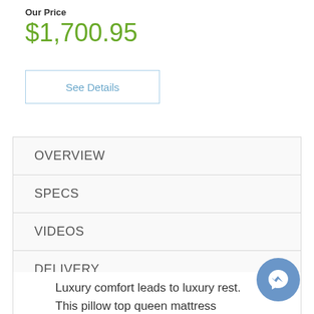Our Price
$1,700.95
See Details
OVERVIEW
SPECS
VIDEOS
DELIVERY
WARRANTY
Luxury comfort leads to luxury rest. This pillow top queen mattress soothes your